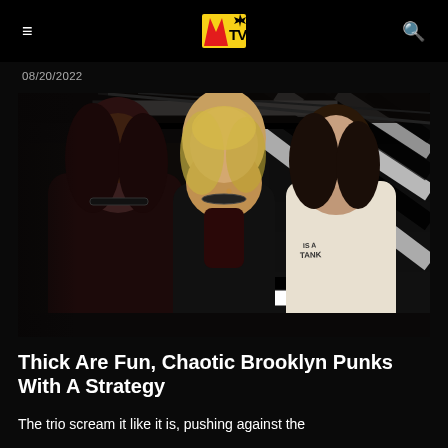MTV
08/20/2022
[Figure (photo): Three young women posed together in front of a black-and-white zigzag/geometric backdrop. Left: dark-haired woman in dark top with choker. Center: blonde woman in black outfit with choker, looking upward. Right: dark-haired woman in white graphic t-shirt.]
Thick Are Fun, Chaotic Brooklyn Punks With A Strategy
The trio scream it like it is, pushing against the